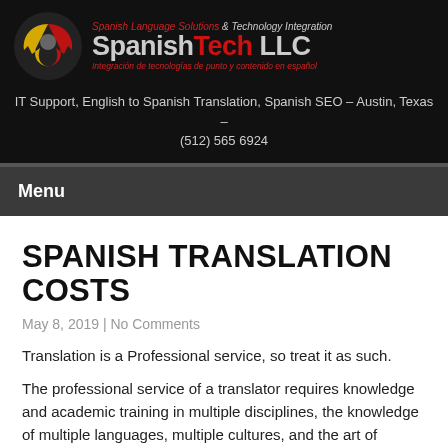[Figure (logo): SpanishTech LLC logo with icon and text: Spanish Language Solutions & Technology Integration, SpanishTech LLC, Integración de tecnologías de punto y contenido en español]
IT Support, English to Spanish Translation, Spanish SEO – Austin, Texas – (512) 565 6924
Menu
SPANISH TRANSLATION COSTS
May 8, 2019 | No Comments
Translation is a Professional service, so treat it as such.
The professional service of a translator requires knowledge and academic training in multiple disciplines, the knowledge of multiple languages, multiple cultures, and the art of